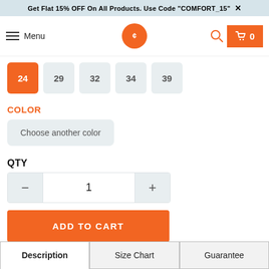Get Flat 15% OFF On All Products. Use Code "COMFORT_15" ×
[Figure (screenshot): Navigation bar with hamburger menu, Menu text, orange logo circle with CB icon, search icon, and orange cart button with 0 count]
24
29
32
34
39
COLOR
Choose another color
QTY
1
ADD TO CART
Description	Size Chart	Guarantee